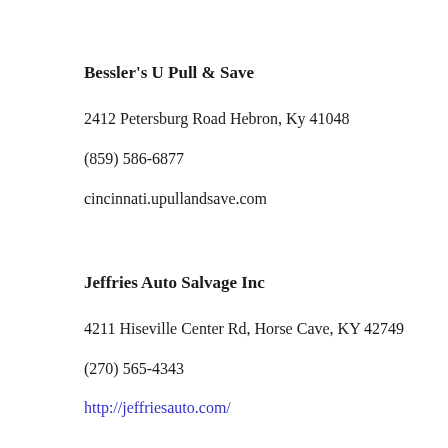Bessler's U Pull & Save
2412 Petersburg Road Hebron, Ky 41048
(859) 586-6877
cincinnati.upullandsave.com
Jeffries Auto Salvage Inc
4211 Hiseville Center Rd, Horse Cave, KY 42749
(270) 565-4343
http://jeffriesauto.com/